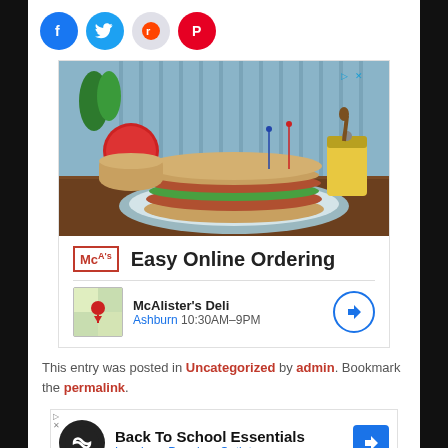[Figure (infographic): Social media share buttons row: Facebook (blue circle), Twitter (blue circle), Reddit (light gray circle), Pinterest (red circle)]
[Figure (photo): McAlister's Deli advertisement showing a sandwich photo, Easy Online Ordering tagline, McD logo, and location info for Ashburn 10:30AM-9PM]
This entry was posted in Uncategorized by admin. Bookmark the permalink.
[Figure (infographic): Back To School Essentials advertisement for Leesburg Premium Outlets with navigation arrow button]